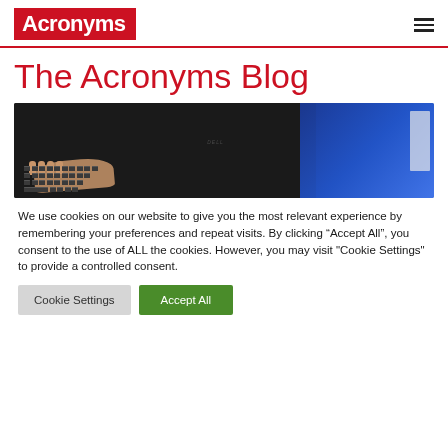Acronyms
The Acronyms Blog
[Figure (photo): Photograph of hands typing on a Dell laptop keyboard, with a blue folder visible in the background right]
We use cookies on our website to give you the most relevant experience by remembering your preferences and repeat visits. By clicking “Accept All”, you consent to the use of ALL the cookies. However, you may visit "Cookie Settings" to provide a controlled consent.
Cookie Settings | Accept All